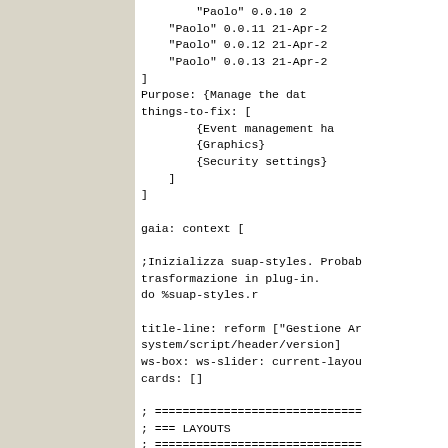"Paolo" 0.0.10 2
"Paolo" 0.0.11 21-Apr-2
"Paolo" 0.0.12 21-Apr-2
"Paolo" 0.0.13 21-Apr-2
]
Purpose: {Manage the dat
things-to-fix: [
    {Event management ha
    {Graphics}
    {Security settings}
]
]

gaia: context [

;Inizializza suap-styles. Probab
trasformazione in plug-in.
do %suap-styles.r

title-line: reform ["Gestione Ar
system/script/header/version]
ws-box: ws-slider: current-layou
cards: []

; ===========================
; === LAYOUTS
; ===========================

gaia-layout: layout [
    styles suap-styles